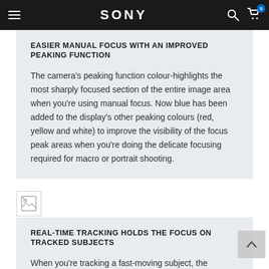SONY
EASIER MANUAL FOCUS WITH AN IMPROVED PEAKING FUNCTION
The camera's peaking function colour-highlights the most sharply focused section of the entire image area when you're using manual focus. Now blue has been added to the display's other peaking colours (red, yellow and white) to improve the visibility of the focus peak areas when you're doing the delicate focusing required for macro or portrait shooting.
[Figure (photo): Broken/missing image thumbnail]
REAL-TIME TRACKING HOLDS THE FOCUS ON TRACKED SUBJECTS
When you're tracking a fast-moving subject, the camera's improved automatic subject motion tracker uses a newly developed subject recognition algorithm that draws on colour, pattern (brightness), subject distance (depth) and face/eye information to recognise, and hold onto, your subject.